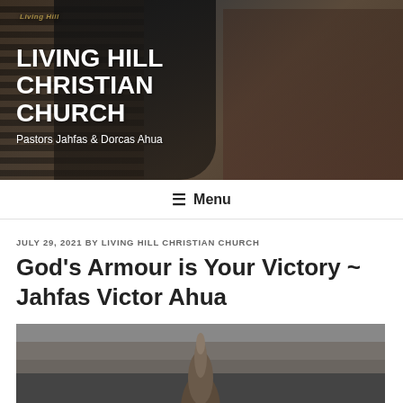[Figure (photo): Hero banner photo showing two people (a man in dark clothing and a woman smiling) with a church logo overlay reading 'Living Hill' in the top-left corner. Text overlay reads 'LIVING HILL CHRISTIAN CHURCH' and 'Pastors Jahfas & Dorcas Ahua'.]
LIVING HILL CHRISTIAN CHURCH
Pastors Jahfas & Dorcas Ahua
≡ Menu
JULY 29, 2021 BY LIVING HILL CHRISTIAN CHURCH
God's Armour is Your Victory ~ Jahfas Victor Ahua
[Figure (photo): Partial image showing a hand raised upward against a misty/cloudy dark background.]